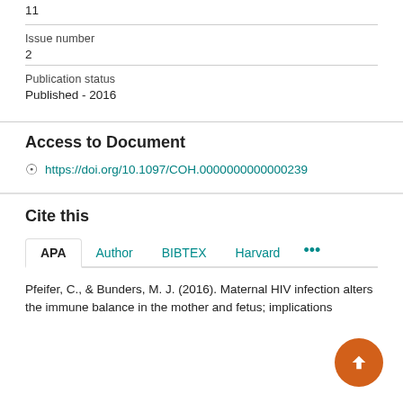11
Issue number
2
Publication status
Published - 2016
Access to Document
https://doi.org/10.1097/COH.0000000000000239
Cite this
APA | Author | BIBTEX | Harvard | ...
Pfeifer, C., & Bunders, M. J. (2016). Maternal HIV infection alters the immune balance in the mother and fetus; implications